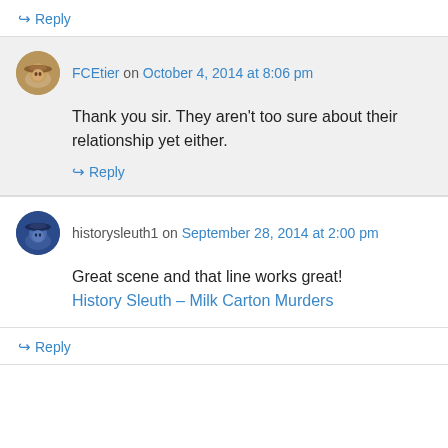↪ Reply
FCEtier on October 4, 2014 at 8:06 pm
Thank you sir. They aren't too sure about their relationship yet either.
↪ Reply
historysleuth1 on September 28, 2014 at 2:00 pm
Great scene and that line works great!
History Sleuth – Milk Carton Murders
↪ Reply